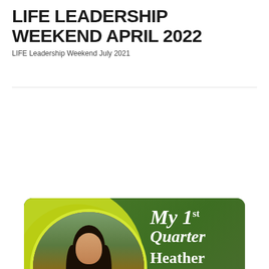LIFE LEADERSHIP WEEKEND APRIL 2022
LIFE Leadership Weekend July 2021
[Figure (photo): Promotional card with green background showing a young woman standing outdoors smiling, with circular photo frame on yellow-green circle. Text reads: My 1st Quarter Heather Garrison D.C. student and RISE Scholar "My Kind of People"]